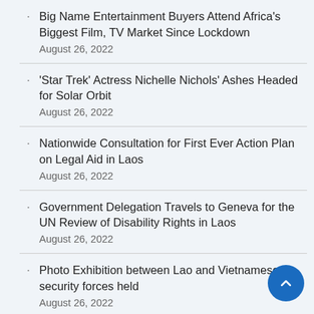Big Name Entertainment Buyers Attend Africa's Biggest Film, TV Market Since Lockdown
August 26, 2022
'Star Trek' Actress Nichelle Nichols' Ashes Headed for Solar Orbit
August 26, 2022
Nationwide Consultation for First Ever Action Plan on Legal Aid in Laos
August 26, 2022
Government Delegation Travels to Geneva for the UN Review of Disability Rights in Laos
August 26, 2022
Photo Exhibition between Lao and Vietnamese security forces held
August 26, 2022